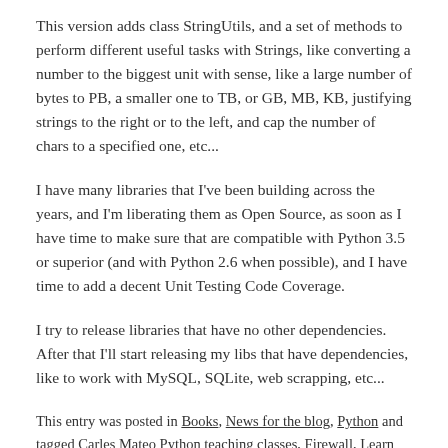This version adds class StringUtils, and a set of methods to perform different useful tasks with Strings, like converting a number to the biggest unit with sense, like a large number of bytes to PB, a smaller one to TB, or GB, MB, KB, justifying strings to the right or to the left, and cap the number of chars to a specified one, etc...
I have many libraries that I've been building across the years, and I'm liberating them as Open Source, as soon as I have time to make sure that are compatible with Python 3.5 or superior (and with Python 2.6 when possible), and I have time to add a decent Unit Testing Code Coverage.
I try to release libraries that have no other dependencies. After that I'll start releasing my libs that have dependencies, like to work with MySQL, SQLite, web scrapping, etc...
This entry was posted in Books, News for the blog, Python and tagged Carles Mateo Python teaching classes, Firewall, Learn